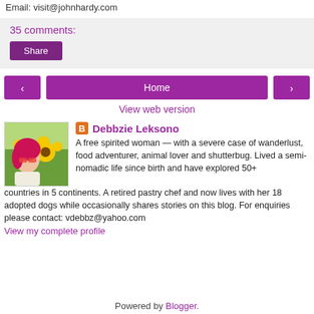Email: visit@johnhardy.com
35 comments:
Share
Home
View web version
Debbzie Leksono
A free spirited woman — with a severe case of wanderlust, food adventurer, animal lover and shutterbug. Lived a semi-nomadic life since birth and have explored 50+ countries in 5 continents. A retired pastry chef and now lives with her 18 adopted dogs while occasionally shares stories on this blog. For enquiries please contact: vdebbz@yahoo.com
View my complete profile
Powered by Blogger.